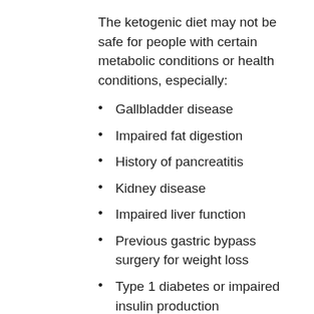The ketogenic diet may not be safe for people with certain metabolic conditions or health conditions, especially:
Gallbladder disease
Impaired fat digestion
History of pancreatitis
Kidney disease
Impaired liver function
Previous gastric bypass surgery for weight loss
Type 1 diabetes or impaired insulin production
History of alcoholism or excessive alcohol
Porphyria